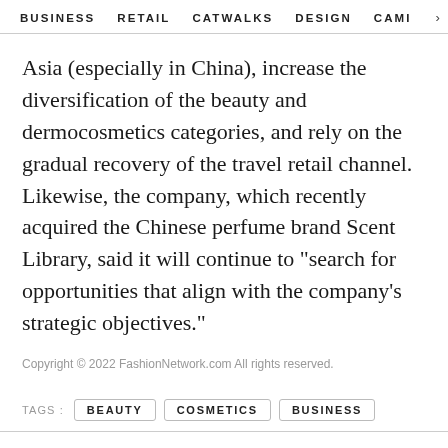BUSINESS   RETAIL   CATWALKS   DESIGN   CAMI >
Asia (especially in China), increase the diversification of the beauty and dermocosmetics categories, and rely on the gradual recovery of the travel retail channel. Likewise, the company, which recently acquired the Chinese perfume brand Scent Library, said it will continue to "search for opportunities that align with the company's strategic objectives."
Copyright © 2022 FashionNetwork.com All rights reserved.
TAGS :   BEAUTY   COSMETICS   BUSINESS